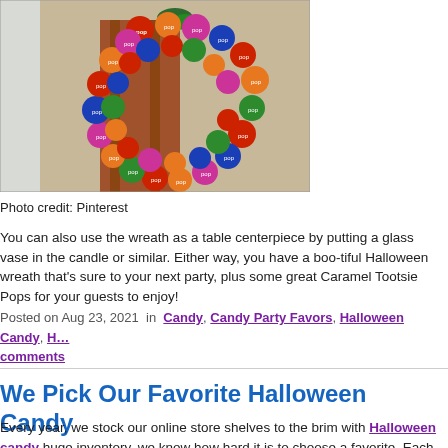[Figure (photo): A colorful wreath made of Tootsie Pops lollipops in various colors (red, blue, orange, pink, green) hanging on a wooden door or post, photographed indoors.]
Photo credit: Pinterest
You can also use the wreath as a table centerpiece by putting a glass vase in the candle or similar. Either way, you have a boo-tiful Halloween wreath that's sure to your next party, plus some great Caramel Tootsie Pops for your guests to enjoy!
Posted on Aug 23, 2021 in Candy, Candy Party Favors, Halloween Candy, H... comments
We Pick Our Favorite Halloween Candy
Every year, we stock our online store shelves to the brim with Halloween candy huge inventory, we know how hard it is to choose a favorite. Each year, candy ma new treats, but there are always those classics that people tend to return to. This